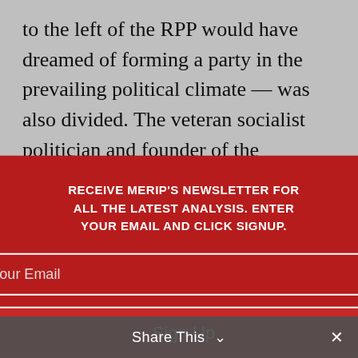to the left of the RPP would have dreamed of forming a party in the prevailing political climate — was also divided. The veteran socialist politician and founder of the Workers' Party of Turkey, Mehmed Ali Aybar, asked if he would s…, "I would n…ould join a s…his is not po…up, I am sim…oice of a profe…et Inönü w…cs from 1938 to…The younge…n his name a…roused, he wa…
[Figure (screenshot): Newsletter signup modal overlay with red background. Title: 'RECEIVE MERIP'S NEWSLETTER FOR ALL THE LATEST ANALYSIS. ENTER YOUR EMAIL AND CLICK SIGNUP.' Email input field and Sign Up button.]